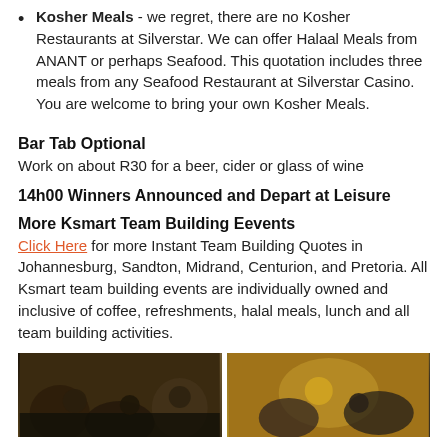Kosher Meals - we regret, there are no Kosher Restaurants at Silverstar. We can offer Halaal Meals from ANANT or perhaps Seafood. This quotation includes three meals from any Seafood Restaurant at Silverstar Casino. You are welcome to bring your own Kosher Meals.
Bar Tab Optional
Work on about R30 for a beer, cider or glass of wine
14h00 Winners Announced and Depart at Leisure
More Ksmart Team Building Eevents
Click Here for more Instant Team Building Quotes in Johannesburg, Sandton, Midrand, Centurion, and Pretoria. All Ksmart team building events are individually owned and inclusive of coffee, refreshments, halal meals, lunch and all team building activities.
[Figure (photo): Two photos showing team building event participants at Silverstar Casino]
[Figure (photo): People holding a trophy at a team building event]